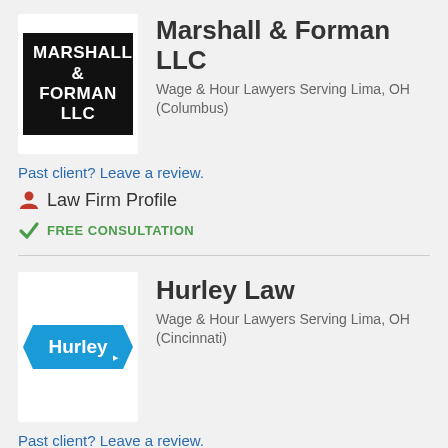[Figure (logo): Marshall & Forman LLC logo — black background with white bold text]
Marshall & Forman LLC
Wage & Hour Lawyers Serving Lima, OH (Columbus)
Past client? Leave a review.
Law Firm Profile
FREE CONSULTATION
[Figure (logo): Hurley Law logo — blue arrow/chevron badge with white Hurley text]
Hurley Law
Wage & Hour Lawyers Serving Lima, OH (Cincinnati)
Past client? Leave a review.
Law Firm Website